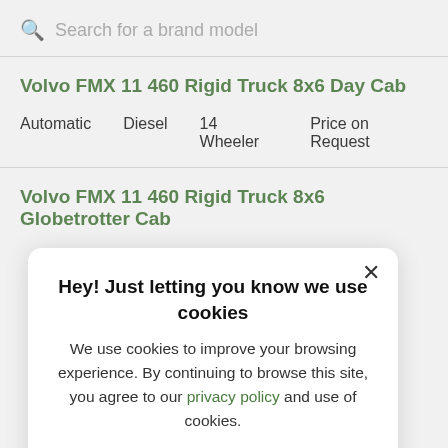Search for a brand model
Volvo FMX 11 460 Rigid Truck 8x6 Day Cab
Automatic   Diesel   14 Wheeler   Price on Request
Volvo FMX 11 460 Rigid Truck 8x6 Globetrotter Cab
Hey! Just letting you know we use cookies
We use cookies to improve your browsing experience. By continuing to browse this site, you agree to our privacy policy and use of cookies.
I Agree